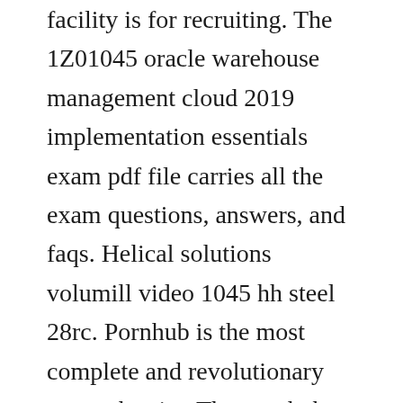facility is for recruiting. The 1Z01045 oracle warehouse management cloud 2019 implementation essentials exam pdf file carries all the exam questions, answers, and faqs. Helical solutions volumill video 1045 hh steel 28rc. Pornhub is the most complete and revolutionary porn tube site. The pornhub team is always updating and adding more porn videos every day.
Receive alerts about breaking news, contests, and more before anyone else. Search modifier either terms word1 word2 manager supervisor retrieves an opportunity for a manager or a